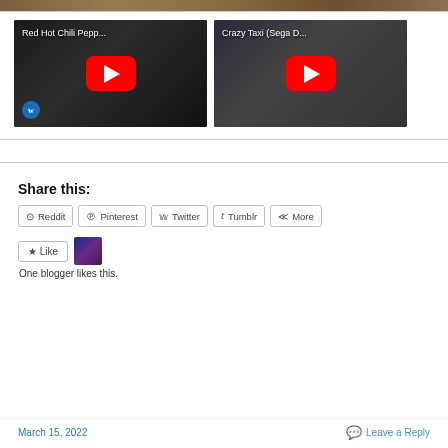[Figure (screenshot): Top strip showing partial image (brown/tan textured surface)]
[Figure (screenshot): YouTube video thumbnail: Red Hot Chili Pepp... with red YouTube play button and W badge]
[Figure (screenshot): YouTube video thumbnail: Crazy Taxi (Sega D... with red YouTube play button]
Share this:
Reddit  Pinterest  Twitter  Tumblr  More
[Figure (screenshot): Like button with star icon and user avatar thumbnail]
One blogger likes this.
March 15, 2022    Leave a Reply